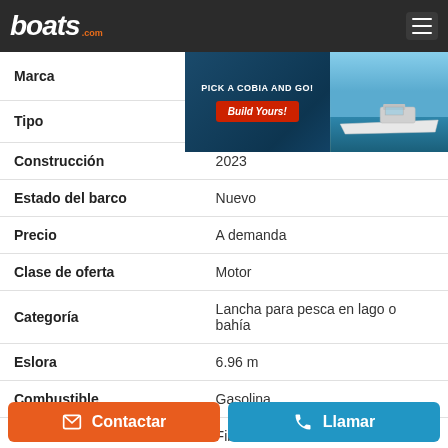boats.com
[Figure (screenshot): Advertisement banner: PICK A COBIA AND GO! with Build Yours! button and boat photo]
| Campo | Valor |
| --- | --- |
| Marca |  |
| Tipo | BX 22 BR |
| Construcción | 2023 |
| Estado del barco | Nuevo |
| Precio | A demanda |
| Clase de oferta | Motor |
| Categoría | Lancha para pesca en lago o bahía |
| Eslora | 6.96 m |
| Combustible | Gasolina |
| Material del casco | Fibra de vidrio |
Contactar
Llamar